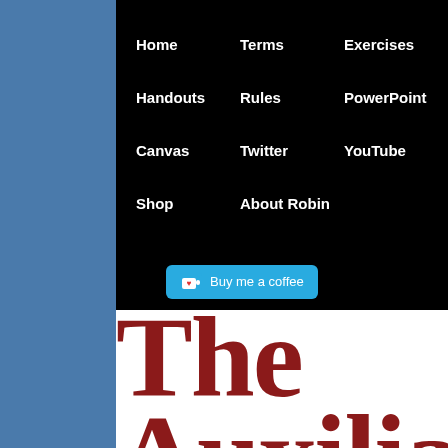Home
Terms
Exercises
Handouts
Rules
PowerPoint
Canvas
Twitter
YouTube
Shop
About Robin
[Figure (other): Buy me a coffee button with heart/coffee cup icon]
The Auxilia